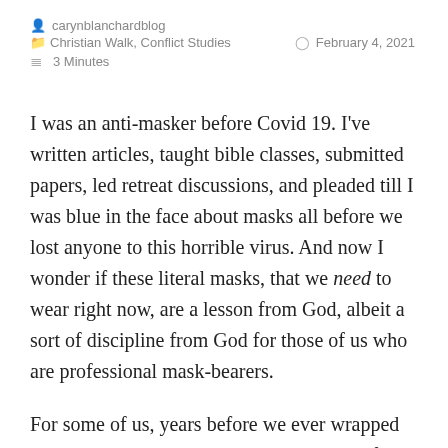carynblanchardblog
Christian Walk, Conflict Studies   February 4, 2021
3 Minutes
I was an anti-masker before Covid 19. I've written articles, taught bible classes, submitted papers, led retreat discussions, and pleaded till I was blue in the face about masks all before we lost anyone to this horrible virus. And now I wonder if these literal masks, that we need to wear right now, are a lesson from God, albeit a sort of discipline from God for those of us who are professional mask-bearers.
For some of us, years before we ever wrapped those little strings behind our ears, we so often walked before